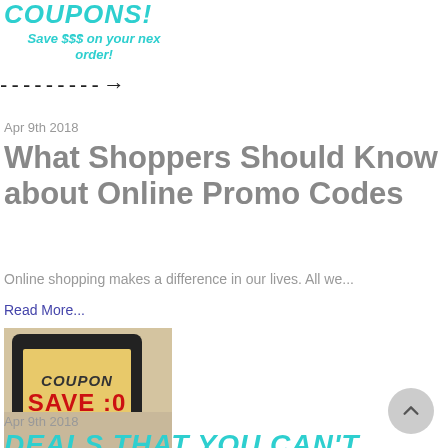COUPONS!
Save $$$ on your nex order!
[Figure (illustration): Dashed arrow pointing right]
Apr 9th 2018
What Shoppers Should Know about Online Promo Codes
Online shopping makes a difference in our lives. All we...
Read More...
[Figure (photo): Person holding a tablet showing a coupon with COUPON and SAVE text on a yellow paper background]
Apr 9th 2018
DEALS THAT YOU CAN'T